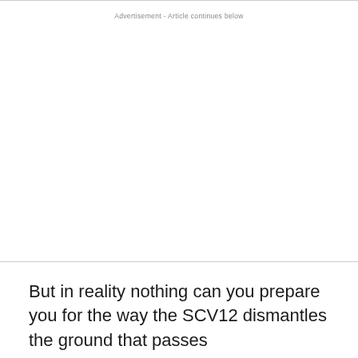Advertisement - Article continues below
But in reality nothing can you prepare you for the way the SCV12 dismantles the ground that passes